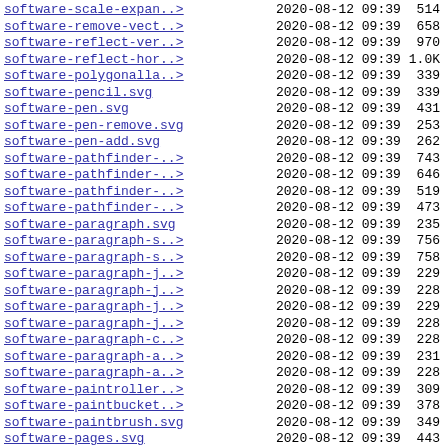| filename | date | time | size |
| --- | --- | --- | --- |
| software-scale-expan..> | 2020-08-12 | 09:39 | 514 |
| software-remove-vect..> | 2020-08-12 | 09:39 | 658 |
| software-reflect-ver..> | 2020-08-12 | 09:39 | 970 |
| software-reflect-hor..> | 2020-08-12 | 09:39 | 1.0K |
| software-polygonalla..> | 2020-08-12 | 09:39 | 339 |
| software-pencil.svg | 2020-08-12 | 09:39 | 339 |
| software-pen.svg | 2020-08-12 | 09:39 | 431 |
| software-pen-remove.svg | 2020-08-12 | 09:39 | 253 |
| software-pen-add.svg | 2020-08-12 | 09:39 | 262 |
| software-pathfinder-..> | 2020-08-12 | 09:39 | 743 |
| software-pathfinder-..> | 2020-08-12 | 09:39 | 646 |
| software-pathfinder-..> | 2020-08-12 | 09:39 | 519 |
| software-pathfinder-..> | 2020-08-12 | 09:39 | 473 |
| software-paragraph.svg | 2020-08-12 | 09:39 | 235 |
| software-paragraph-s..> | 2020-08-12 | 09:39 | 756 |
| software-paragraph-s..> | 2020-08-12 | 09:39 | 758 |
| software-paragraph-j..> | 2020-08-12 | 09:39 | 229 |
| software-paragraph-j..> | 2020-08-12 | 09:39 | 228 |
| software-paragraph-j..> | 2020-08-12 | 09:39 | 229 |
| software-paragraph-j..> | 2020-08-12 | 09:39 | 228 |
| software-paragraph-c..> | 2020-08-12 | 09:39 | 228 |
| software-paragraph-a..> | 2020-08-12 | 09:39 | 231 |
| software-paragraph-a..> | 2020-08-12 | 09:39 | 228 |
| software-paintroller..> | 2020-08-12 | 09:39 | 309 |
| software-paintbucket..> | 2020-08-12 | 09:39 | 378 |
| software-paintbrush.svg | 2020-08-12 | 09:39 | 349 |
| software-pages.svg | 2020-08-12 | 09:39 | 443 |
| software-magnete.svg | 2020-08-12 | 09:39 | 277 |
| software-layout.svg | 2020-08-12 | 09:39 | 194 |
| software-layout-side..> | 2020-08-12 | 09:39 | 209 |